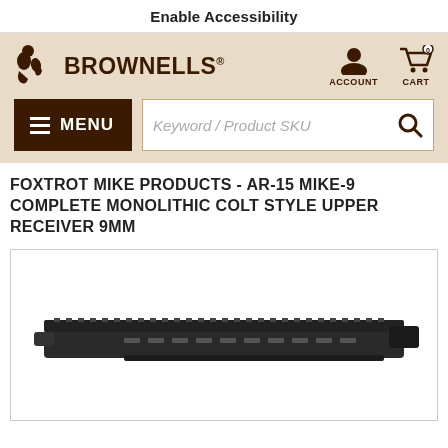Enable Accessibility
[Figure (logo): Brownells logo with stylized figure icon and BROWNELLS text]
[Figure (infographic): Account icon (person silhouette) and Cart icon with 0 items]
MENU (hamburger menu button)
Keyword / Product SKU (search box placeholder)
FOXTROT MIKE PRODUCTS - AR-15 MIKE-9 COMPLETE MONOLITHIC COLT STYLE UPPER RECEIVER 9MM
[Figure (photo): AR-15 upper receiver assembly with picatinny rail, viewed from the side on a white background, partially visible]